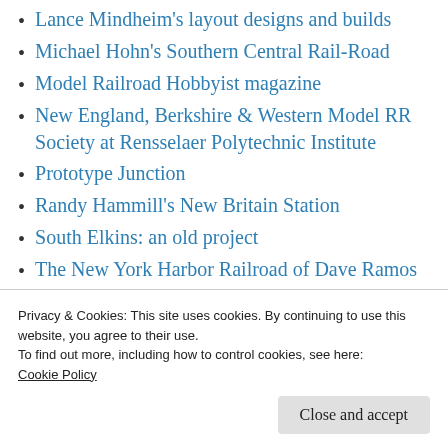Lance Mindheim's layout designs and builds
Michael Hohn's Southern Central Rail-Road
Model Railroad Hobbyist magazine
New England, Berkshire & Western Model RR Society at Rensselaer Polytechnic Institute
Prototype Junction
Randy Hammill's New Britain Station
South Elkins: an old project
The New York Harbor Railroad of Dave Ramos
The Patche... (partially visible)
Privacy & Cookies: This site uses cookies. By continuing to use this website, you agree to their use.
To find out more, including how to control cookies, see here: Cookie Policy
Close and accept